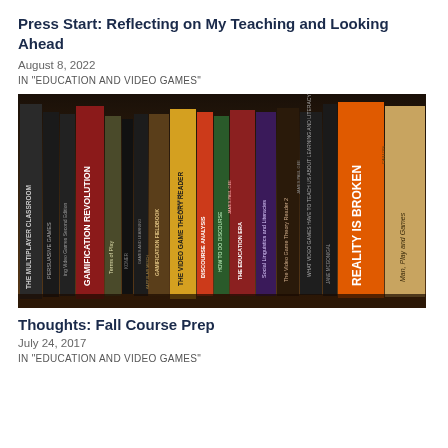Press Start: Reflecting on My Teaching and Looking Ahead
August 8, 2022
IN "EDUCATION AND VIDEO GAMES"
[Figure (photo): A shelf of books about video games and education, including titles such as The Multiplayer Classroom, Persuasive Games, Gamification Revolution, Terms of Play, Gamification Fieldbook, The Video Game Theory Reader, Discourse Analysis, How to Do Discourse, New Literacies/The Education Era, Social Linguistics and Literacies, The Video Game Theory Reader 2, What Video Games Have to Teach Us About Learning and Literacy, Reality is Broken, and Man Play and Games.]
Thoughts: Fall Course Prep
July 24, 2017
IN "EDUCATION AND VIDEO GAMES"